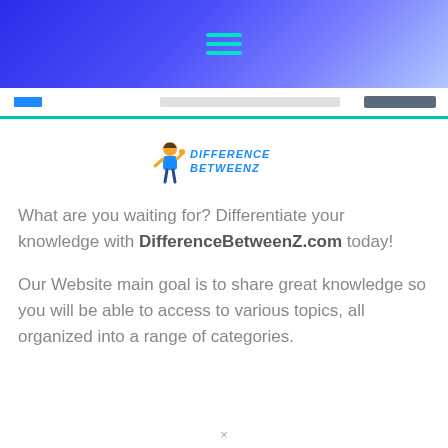Navigation header with hamburger menu icon
[Figure (logo): DifferenceBetweenZ.com logo with cartoon figure and blue text]
What are you waiting for? Differentiate your knowledge with DifferenceBetweenZ.com today!
Our Website main goal is to share great knowledge so you will be able to access to various topics, all organized into a range of categories.